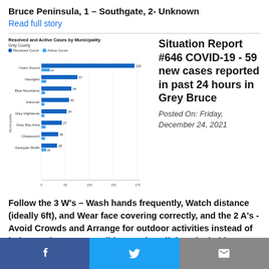Bruce Peninsula, 1 – Southgate, 2- Unknown
Read full story
[Figure (bar-chart): Horizontal grouped bar chart showing Resolved Count and Active Count by municipality in Grey County. Municipalities listed include Owen Sound, Georgian, Blue Mountains, Hanover, Grey Highlands, Grey Bay Area, Chatsworth, and Georgian Bluffs. Owen Sound has the longest resolved bar (~130).]
Situation Report #646 COVID-19 - 59 new cases reported in past 24 hours in Grey Bruce
Posted On: Friday, December 24, 2021
Follow the 3 W's – Wash hands frequently, Watch distance (ideally 6ft), and Wear face covering correctly, and the 2 A's - Avoid Crowds and Arrange for outdoor activities instead of indoors whenever possible. Vaccine clinic to be held January 3rd at the Beaver Valley Community Centre, 58 Alfred St. W., Thornbury, 12:00pm -
Social share bar: Facebook, Twitter, Email